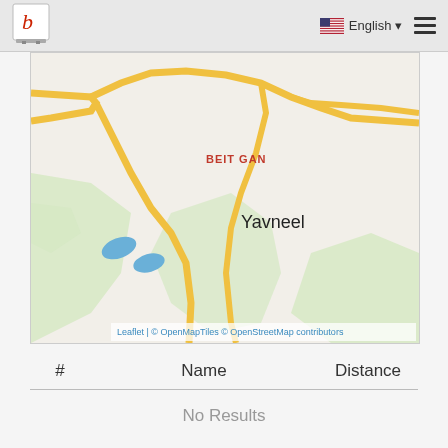English
[Figure (map): Street map showing the area around Yavneel and Beit Gan, with roads in yellow, green areas, and small blue water bodies. Attribution: Leaflet | © OpenMapTiles © OpenStreetMap contributors]
Leaflet | © OpenMapTiles © OpenStreetMap contributors
| # | Name | Distance |
| --- | --- | --- |
No Results